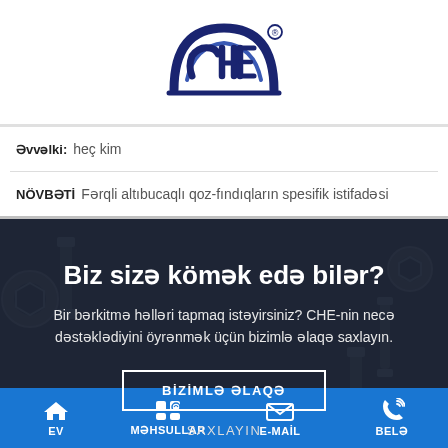[Figure (logo): CHE brand logo in dark blue with registered trademark symbol]
Əvvəlki: heç kim
NÖVBƏTİ Fərqli altıbucaqlı qoz-fındıqların spesifik istifadəsi
Biz sizə kömək edə bilər?
Bir bərkitmə həlləri tapmaq istəyirsiniz? CHE-nin necə dəstəklədiyini öyrənmək üçün bizimlə əlaqə saxlayın.
BİZİMLƏ ƏLAQƏ
SAXLAYIN
EV  MƏHSULLAR  E-MAİL  BELƏ